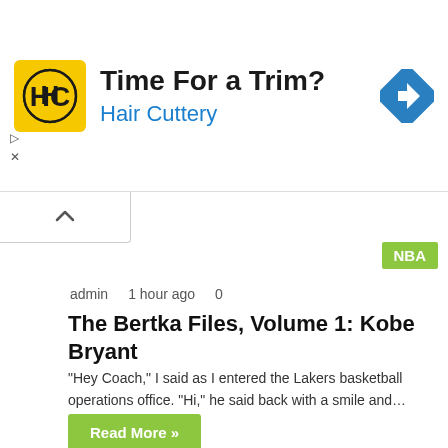[Figure (logo): Hair Cuttery advertisement banner with HC logo, 'Time For a Trim?' headline, 'Hair Cuttery' subtitle, and navigation icon]
admin   1 hour ago   0
The Bertka Files, Volume 1: Kobe Bryant
“Hey Coach,” I said as I entered the Lakers basketball operations office. “Hi,” he said back with a smile and…
Read More »